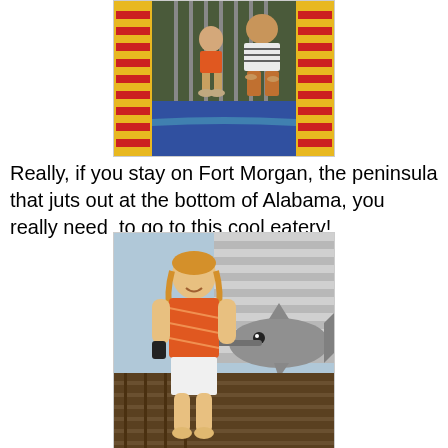[Figure (photo): A young girl and a woman crouching together inside a colorful play structure with yellow and red elements and blue flooring.]
Really, if you stay on Fort Morgan, the peninsula that juts out at the bottom of Alabama, you really need  to go to this cool eatery!
[Figure (photo): A young blonde girl in an orange top and white shorts standing next to a large decorative fish/shark sculpture made of metal.]